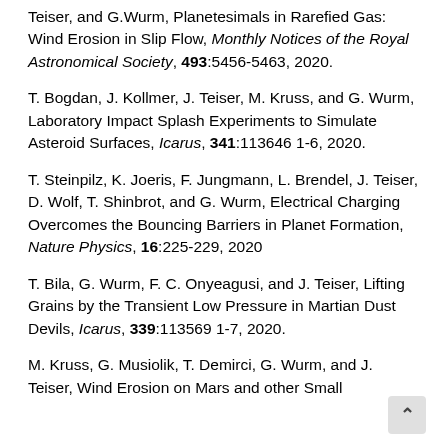Teiser, and G.Wurm, Planetesimals in Rarefied Gas: Wind Erosion in Slip Flow, Monthly Notices of the Royal Astronomical Society, 493:5456-5463, 2020.
T. Bogdan, J. Kollmer, J. Teiser, M. Kruss, and G. Wurm, Laboratory Impact Splash Experiments to Simulate Asteroid Surfaces, Icarus, 341:113646 1-6, 2020.
T. Steinpilz, K. Joeris, F. Jungmann, L. Brendel, J. Teiser, D. Wolf, T. Shinbrot, and G. Wurm, Electrical Charging Overcomes the Bouncing Barriers in Planet Formation, Nature Physics, 16:225-229, 2020
T. Bila, G. Wurm, F. C. Onyeagusi, and J. Teiser, Lifting Grains by the Transient Low Pressure in Martian Dust Devils, Icarus, 339:113569 1-7, 2020.
M. Kruss, G. Musiolik, T. Demirci, G. Wurm, and J. Teiser, Wind Erosion on Mars and other Small